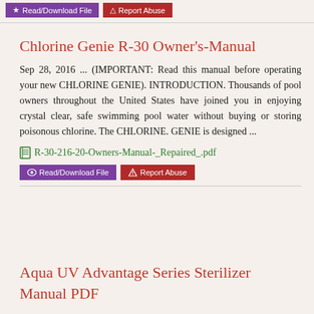Read/Download File  Report Abuse
Chlorine Genie R-30 Owner's-Manual
Sep 28, 2016 ... (IMPORTANT: Read this manual before operating your new CHLORINE GENIE). INTRODUCTION. Thousands of pool owners throughout the United States have joined you in enjoying crystal clear, safe swimming pool water without buying or storing poisonous chlorine. The CHLORINE. GENIE is designed ...
R-30-216-20-Owners-Manual-_Repaired_.pdf
Read/Download File  Report Abuse
Aqua UV Advantage Series Sterilizer Manual PDF